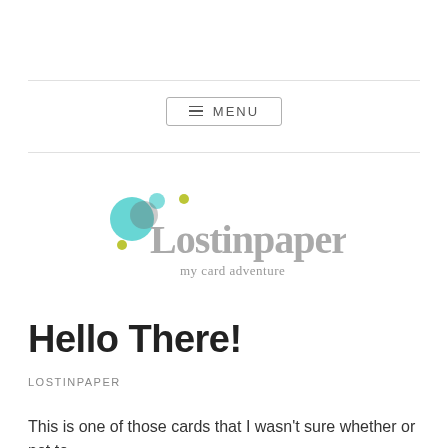[Figure (logo): Lostinpaper logo with colorful circles and handwritten/stylized text reading 'Lostinpaper' and subtitle 'my card adventure']
Hello There!
LOSTINPAPER
This is one of those cards that I wasn't sure whether or not to